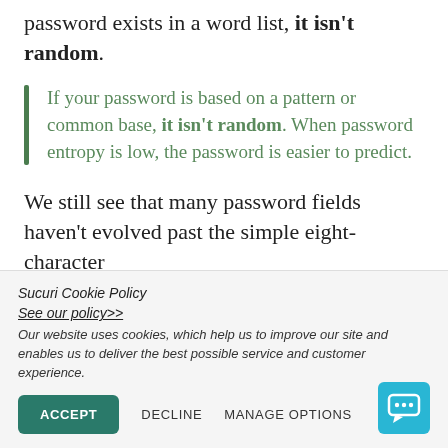password exists in a word list, it isn't random.
If your password is based on a pattern or common base, it isn't random. When password entropy is low, the password is easier to predict.
We still see that many password fields haven't evolved past the simple eight-character
Sucuri Cookie Policy
See our policy>>
Our website uses cookies, which help us to improve our site and enables us to deliver the best possible service and customer experience.
ACCEPT   DECLINE   MANAGE OPTIONS